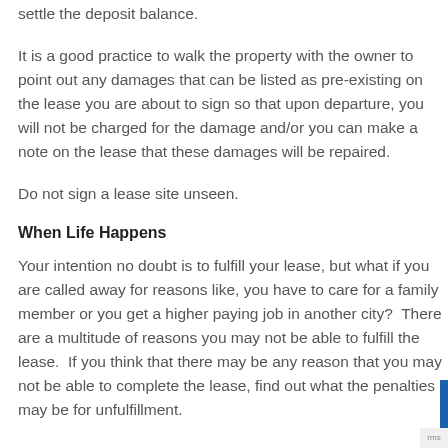settle the deposit balance.
It is a good practice to walk the property with the owner to point out any damages that can be listed as pre-existing on the lease you are about to sign so that upon departure, you will not be charged for the damage and/or you can make a note on the lease that these damages will be repaired.
Do not sign a lease site unseen.
When Life Happens
Your intention no doubt is to fulfill your lease, but what if you are called away for reasons like, you have to care for a family member or you get a higher paying job in another city?  There are a multitude of reasons you may not be able to fulfill the lease.  If you think that there may be any reason that you may not be able to complete the lease, find out what the penalties may be for unfulfillment.